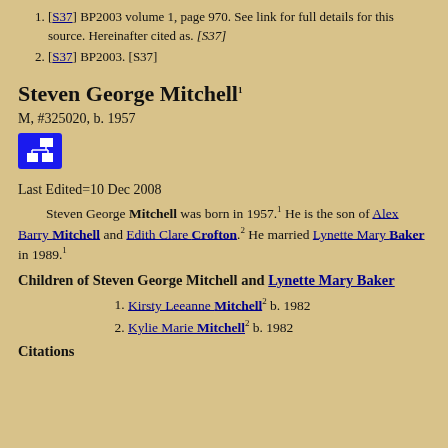[S37] BP2003 volume 1, page 970. See link for full details for this source. Hereinafter cited as. [S37]
[S37] BP2003. [S37]
Steven George Mitchell
M, #325020, b. 1957
Last Edited=10 Dec 2008
Steven George Mitchell was born in 1957. He is the son of Alex Barry Mitchell and Edith Clare Crofton. He married Lynette Mary Baker in 1989.
Children of Steven George Mitchell and Lynette Mary Baker
Kirsty Leeanne Mitchell b. 1982
Kylie Marie Mitchell b. 1982
Citations